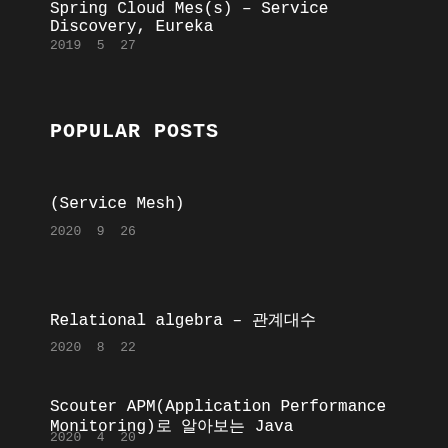Spring Cloud Mes(s) - Service Discovery, Eureka
2019  5  27
POPULAR POSTS
(Service Mesh)
2020  9  26
Relational algebra – 관계대수
2020  8  22
Scouter APM(Application Performance Monitoring)로 알아보는 Java
2020  4  20